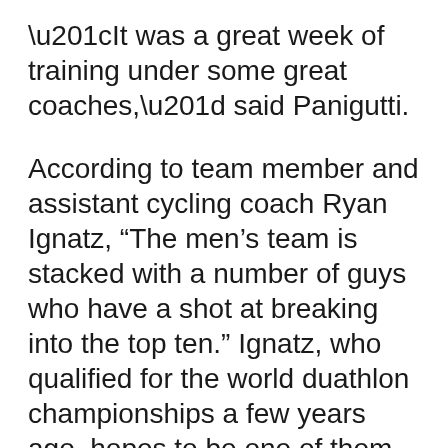“It was a great week of training under some great coaches,” said Panigutti.
According to team member and assistant cycling coach Ryan Ignatz, “The men’s team is stacked with a number of guys who have a shot at breaking into the top ten.” Ignatz, who qualified for the world duathlon championships a few years ago, hopes to be one of them.
Sophomore Tim Smith also hopes to be one of the scorers for the